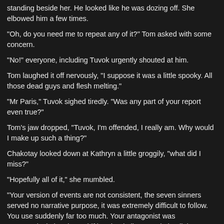standing beside her. He looked like he was dozing off. She elbowed him a few times.
"Oh, do you need me to repeat any of it?" Tom asked with some concern.
"No!" everyone, including Tuvok urgently shouted at him.
Tom laughed it off nervously, "I suppose it was a little spooky. All those dead guys and flesh melting."
"Mr Paris," Tuvok sighed tiredly. "Was any part of your report even true?"
Tom's jaw dropped, "Tuvok, I'm offended, I really am. Why would I make up such a thing?"
Chakotay looked down at Kathryn a little groggily, "what did I miss?"
"Hopefully all of it," she mumbled.
"Your version of events are not consistent, the seven sinners served no narrative purpose, it was extremely difficult to follow. You use suddenly far too much. Your antagonist was stereotypical, the shapeshifting dead aliens made it a little farfetched," Tuvok explained.
Kathryn cleared her throat as a hint to stop, "and? When you put it like that, it sounds like a normal day on the job."
Tuvok's brow raised, he looked almost impressed. "Indeed, except for one minor detail."